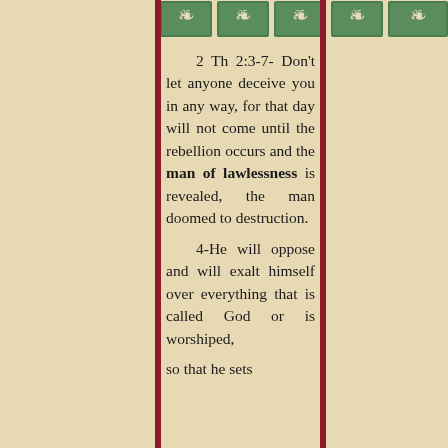[Figure (illustration): Decorative green stamp-like border with floral/bird motifs repeating across the top of the page]
2 Th 2:3-7- Don't let anyone deceive you in any way, for that day will not come until the rebellion occurs and the man of lawlessness is revealed, the man doomed to destruction. 4-He will oppose and will exalt himself over everything that is called God or is worshiped, so that he sets